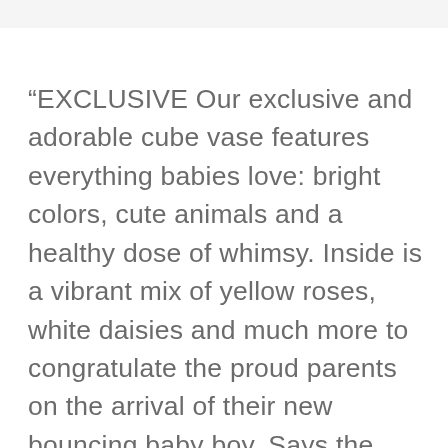“EXCLUSIVE Our exclusive and adorable cube vase features everything babies love: bright colors, cute animals and a healthy dose of whimsy. Inside is a vibrant mix of yellow roses, white daisies and much more to congratulate the proud parents on the arrival of their new bouncing baby boy. Says the cube’s designer, Sandra Magsamen: “This fun and playful cube vase is reminiscent of a child’s building block, filled with messages to help your baby grow up to be all they can be.” The cube can later be reused to